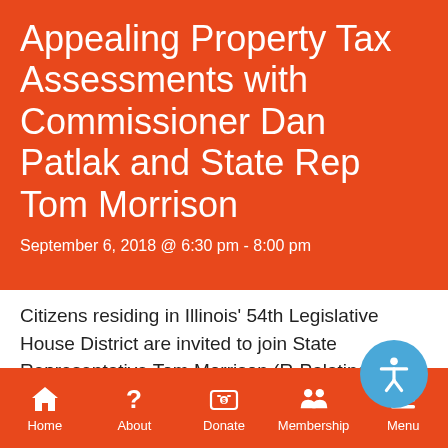Appealing Property Tax Assessments with Commissioner Dan Patlak and State Rep Tom Morrison
September 6, 2018 @ 6:30 pm - 8:00 pm
Citizens residing in Illinois' 54th Legislative House District are invited to join State Representative Tom Morrison (R-Palatine) and a local tax assessment
Home   About   Donate   Membership   Menu